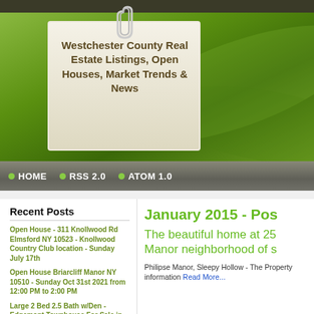[Figure (screenshot): Green nature background with sticky note and paper clip]
Westchester County Real Estate Listings, Open Houses, Market Trends & News
HOME  RSS 2.0  ATOM 1.0
Recent Posts
Open House - 311 Knollwood Rd Elmsford NY 10523 - Knollwood Country Club location - Sunday July 17th
Open House Briarcliff Manor NY 10510 - Sunday Oct 31st 2021 from 12:00 PM to 2:00 PM
Large 2 Bed 2.5 Bath w/Den - Edgemont Townhouse For Sale in Edgemont NY 10701
January 2015 - Pos
The beautiful home at 25 Manor neighborhood of s
Philipse Manor, Sleepy Hollow - The Property information Read More...